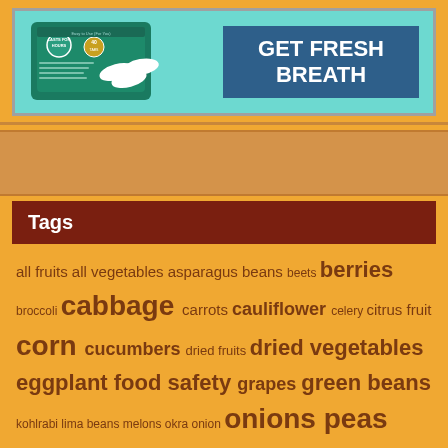[Figure (photo): Advertisement for a breath freshening product. Teal/aqua background with a product box labeled 'LASTS FOR HOURS' with 40 tablets, white tablets shown, and a dark blue button saying 'GET FRESH BREATH'.]
Tags
all fruits all vegetables asparagus beans beets berries broccoli cabbage carrots cauliflower celery citrus fruit corn cucumbers dried fruits dried vegetables eggplant food safety grapes green beans kohlrabi lima beans melons okra onion onions peas peppers pome fruits pomegranate radish radishes rhubarb root vegetables rutabaga rutabagas sauerkraut